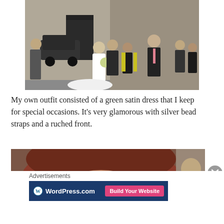[Figure (photo): Wedding scene outside a stone church building. A bride in a white dress with a long train holds a bouquet. A groom in a dark suit stands beside her. A woman in a black dress with yellow/green jacket stands nearby. A tall man in a dark suit with pink tie stands to the right. Various other guests and a dark car are visible in the background.]
My own outfit consisted of a green satin dress that I keep for special occasions. It's very glamorous with silver bead straps and a ruched front.
[Figure (photo): Close-up photo showing a woman with reddish-brown hair, partially cropped. Another figure visible in background.]
Advertisements
[Figure (other): WordPress.com advertisement banner with dark blue background, WordPress logo and 'Build Your Website' pink button.]